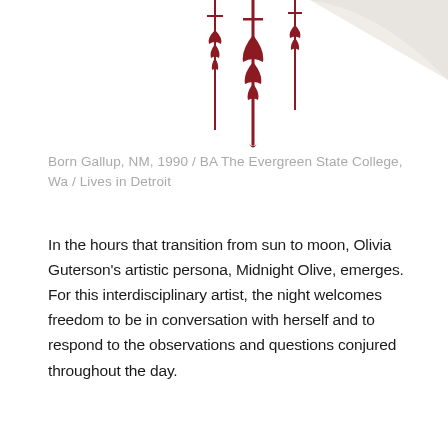[Figure (illustration): Decorative red ornamental flourish designs on white background with a curled page effect in the upper right corner. Dark red/crimson vertical ornamental elements with scrollwork hang down from the top.]
Born Gallup, NM, 1990 / BA The Evergreen State College, Wa / Lives in Detroit
In the hours that transition from sun to moon, Olivia Guterson's artistic persona, Midnight Olive, emerges. For this interdisciplinary artist, the night welcomes freedom to be in conversation with herself and to respond to the observations and questions conjured throughout the day.
Continue reading →